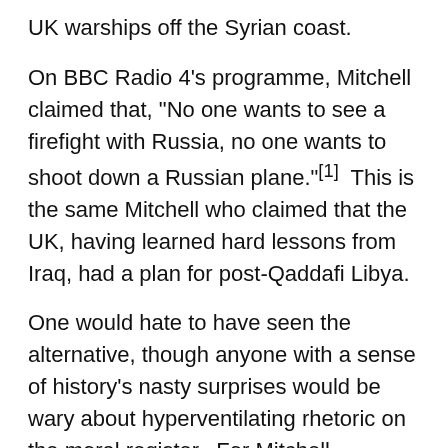UK warships off the Syrian coast.
On BBC Radio 4’s programme, Mitchell claimed that, “No one wants to see a firefight with Russia, no one wants to shoot down a Russian plane.”[1]  This is the same Mitchell who claimed that the UK, having learned hard lessons from Iraq, had a plan for post-Qaddafi Libya.
One would hate to have seen the alternative, though anyone with a sense of history’s nasty surprises would be wary about hyperventilating rhetoric on the moral register.  For Mitchell, Russia’s behaviour regarding Aleppo matched “the behaviour of the Nazi regime in Guernica in Spain.”